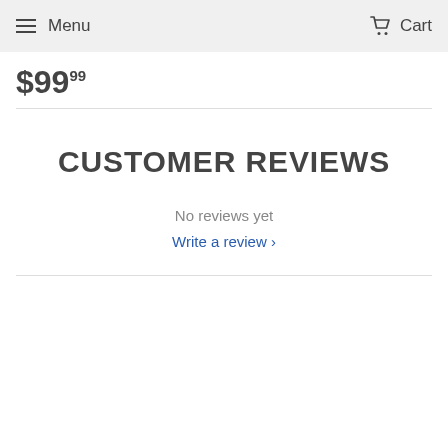Menu  Cart
$99.99
CUSTOMER REVIEWS
No reviews yet
Write a review ›